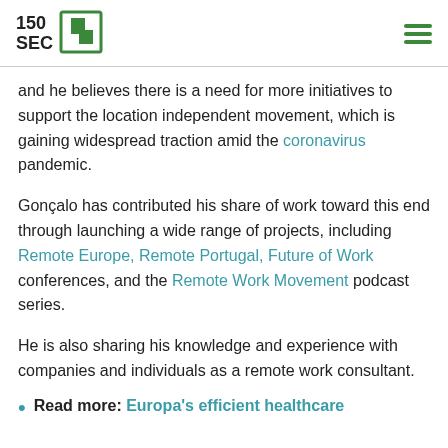150SEC [logo]
and he believes there is a need for more initiatives to support the location independent movement, which is gaining widespread traction amid the coronavirus pandemic.
Gonçalo has contributed his share of work toward this end through launching a wide range of projects, including Remote Europe, Remote Portugal, Future of Work conferences, and the Remote Work Movement podcast series.
He is also sharing his knowledge and experience with companies and individuals as a remote work consultant.
Read more: Europa's efficient healthcare